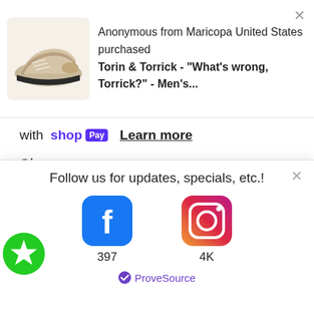[Figure (screenshot): Notification popup showing a shoe purchase: 'Anonymous from Maricopa United States purchased Torin & Torrick - "What's wrong, Torrick?" - Men's...' with a shoe image on the left and an X close button]
with shop Pay  Learn more
Size
XS
[Figure (logo): Green circle with white star icon (wishlist/favorites button)]
[Figure (infographic): Follow us for updates, specials, etc.! popup with Facebook icon (397) and Instagram icon (4K) and ProveSource branding]